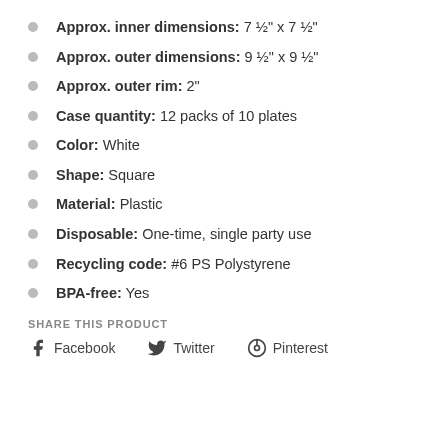Approx. inner dimensions: 7 ½" x 7 ½"
Approx. outer dimensions: 9 ½" x 9 ½"
Approx. outer rim: 2"
Case quantity: 12 packs of 10 plates
Color: White
Shape: Square
Material: Plastic
Disposable: One-time, single party use
Recycling code: #6 PS Polystyrene
BPA-free: Yes
SHARE THIS PRODUCT
Facebook  Twitter  Pinterest